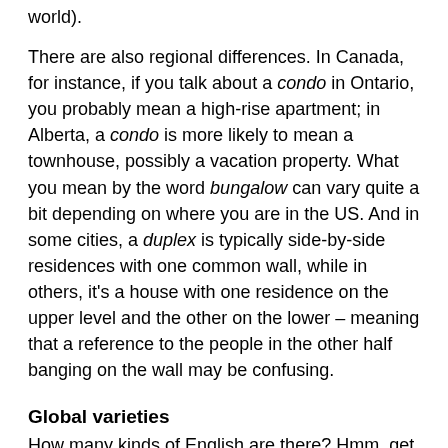world).
There are also regional differences. In Canada, for instance, if you talk about a condo in Ontario, you probably mean a high-rise apartment; in Alberta, a condo is more likely to mean a townhouse, possibly a vacation property. What you mean by the word bungalow can vary quite a bit depending on where you are in the US. And in some cities, a duplex is typically side-by-side residences with one common wall, while in others, it’s a house with one residence on the upper level and the other on the lower – meaning that a reference to the people in the other half banging on the wall may be confusing.
Global varieties
How many kinds of English are there? Hmm, get a book of paint colors from a hardware store and tell me how many kinds of white and how and black there are. Categories the...